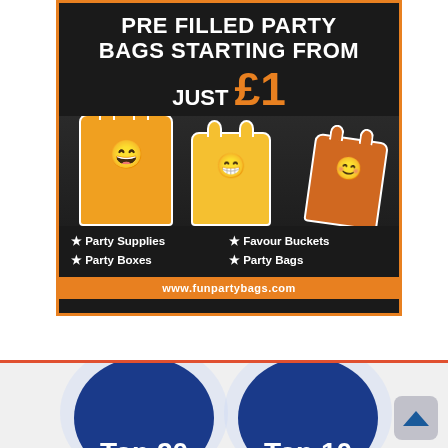[Figure (illustration): Advertisement for funpartybags.com showing cartoon party bag mascots on a dark background. Text reads: PRE FILLED PARTY BAGS STARTING FROM JUST £1. Bullet points: Party Supplies, Party Boxes, Favour Buckets, Party Bags. URL: www.funpartybags.com]
Privacy
[Figure (illustration): Bottom section showing two large dark blue circles partially visible, with text 'Top 20' on the left circle and 'Top 10' on the right circle. A scroll-to-top button is visible on the right side.]